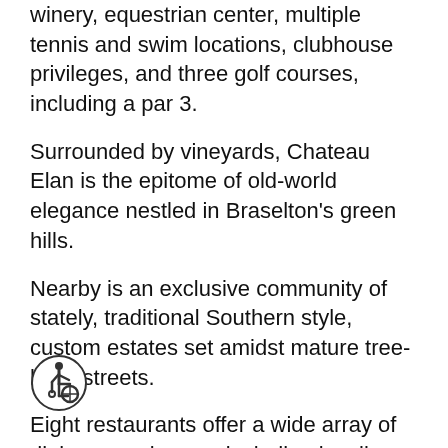winery, equestrian center, multiple tennis and swim locations, clubhouse privileges, and three golf courses, including a par 3.
Surrounded by vineyards, Chateau Elan is the epitome of old-world elegance nestled in Braselton's green hills.
Nearby is an exclusive community of stately, traditional Southern style, custom estates set amidst mature tree-lined streets.
Eight restaurants offer a wide array of dining experiences, including locally sourced coffee and pastries at La Petite to bespoke cocktails at the posh speakeasy bar, Louis' House of Bourbon.
[Figure (illustration): Accessibility wheelchair icon (ISA symbol) in a circle, bottom left corner of page]